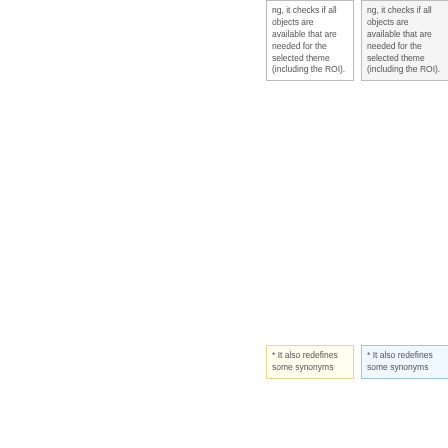| ng, it checks if all objects are available that are needed for the selected theme (including the ROI). | ng, it checks if all objects are available that are needed for the selected theme (including the ROI). |
| * It also redefines some synonyms | * It also redefines some synonyms |